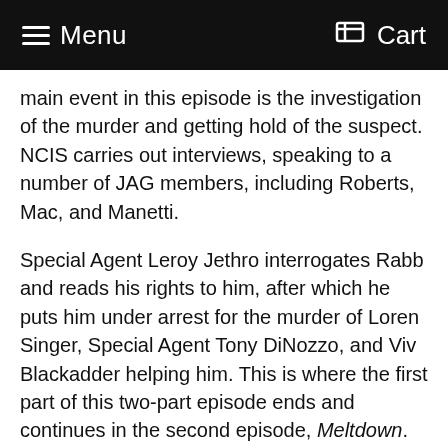≡ Menu   Cart
main event in this episode is the investigation of the murder and getting hold of the suspect. NCIS carries out interviews, speaking to a number of JAG members, including Roberts, Mac, and Manetti.
Special Agent Leroy Jethro interrogates Rabb and reads his rights to him, after which he puts him under arrest for the murder of Loren Singer, Special Agent Tony DiNozzo, and Viv Blackadder helping him. This is where the first part of this two-part episode ends and continues in the second episode, Meltdown.
While these are happening, NCIS is working towards clamping down on the terrorist who is behind the attack on USS Cole. They interrogate Amad Bin Atwa, another terrorist who helped in financing the